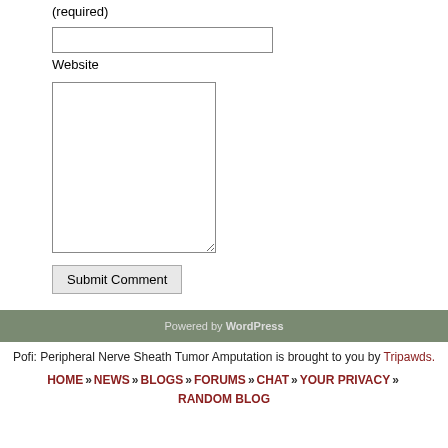(required)
[Figure (other): Email input text field]
Website
[Figure (other): Comment textarea input field]
Submit Comment
Powered by WordPress
Pofi: Peripheral Nerve Sheath Tumor Amputation is brought to you by Tripawds.
HOME » NEWS » BLOGS » FORUMS » CHAT » YOUR PRIVACY » RANDOM BLOG